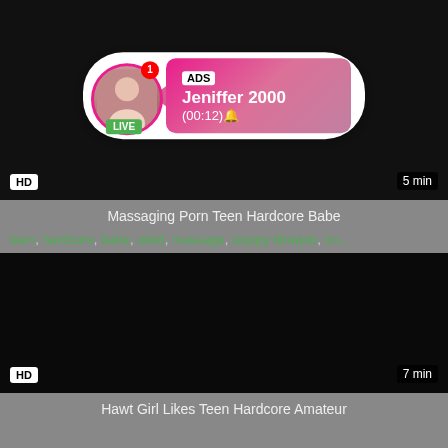[Figure (screenshot): Video thumbnail (black) with ADS overlay showing avatar with LIVE badge, notification badge with '1', and pink gradient ad box with 'ADS', 'Jeniffer 2000', '(00:12)' text. HD badge bottom-left, '5 min' bottom-right.]
Massaging Porn Teen Hardcore Babe
teen, hardcore, babe, oiled, massage, sloppy blowjob, co...
[Figure (screenshot): Black video thumbnail with HD badge bottom-left and '7 min' bottom-right.]
Hawt Girl Likes Teen Hardcore Amateur